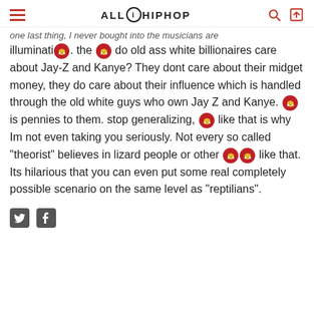ALLHIPHOP
one last thing, I never bought into the musicians are illuminati 😤. the 😤 do old ass white billionaires care about Jay-Z and Kanye? They dont care about their midget money, they do care about their influence which is handled through the old white guys who own Jay Z and Kanye. 😤 is pennies to them. stop generalizing, 😤 like that is why Im not even taking you seriously. Not every so called "theorist" believes in lizard people or other 😤😤 like that. Its hilarious that you can even put some real completely possible scenario on the same level as "reptilians".
[Figure (other): Twitter and Facebook share icons]